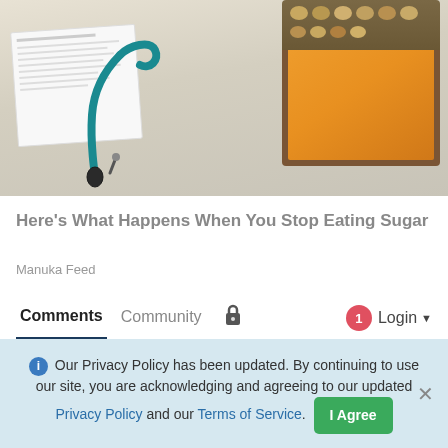[Figure (photo): Photo of stethoscope and medical papers on left, orange food/cheese and nuts in wooden box on right, on a wooden surface background]
Here's What Happens When You Stop Eating Sugar
Manuka Feed
Comments  Community  [lock icon]  [notification badge: 1]  Login
Favorite  Sort by Best
Start the discussion...
Our Privacy Policy has been updated. By continuing to use our site, you are acknowledging and agreeing to our updated Privacy Policy and our Terms of Service.  I Agree